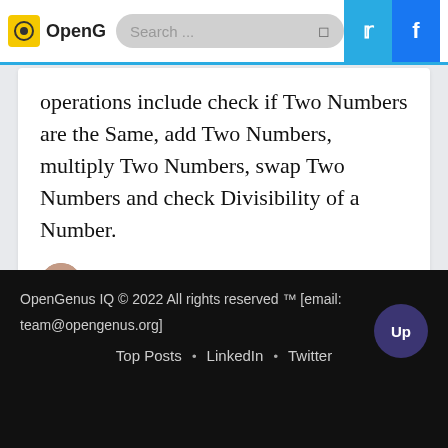OpenG [Search...] Twitter Facebook
operations include check if Two Numbers are the Same, add Two Numbers, multiply Two Numbers, swap Two Numbers and check Divisibility of a Number.
LYNDI CASTREJON
OpenGenus IQ © 2022 All rights reserved ™ [email: team@opengenus.org]
Top Posts · LinkedIn · Twitter